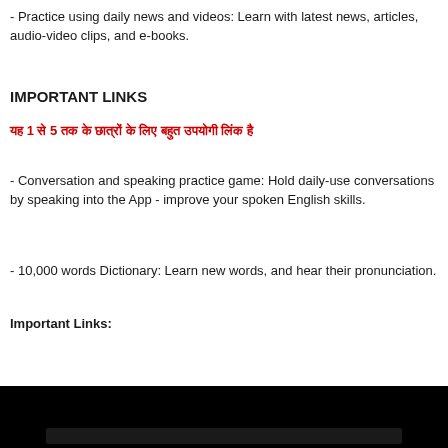- Practice using daily news and videos: Learn with latest news, articles, audio-video clips, and e-books.
IMPORTANT LINKS
यह 1 से 5 तक के छात्रों के लिए बहुत उपयोगी लिंक है
- Conversation and speaking practice game: Hold daily-use conversations by speaking into the App - improve your spoken English skills.
- 10,000 words Dictionary: Learn new words, and hear their pronunciation.
Important Links:
[Figure (photo): Dark/black background image at the bottom of the page, partially visible, appears to be a video thumbnail or screenshot]